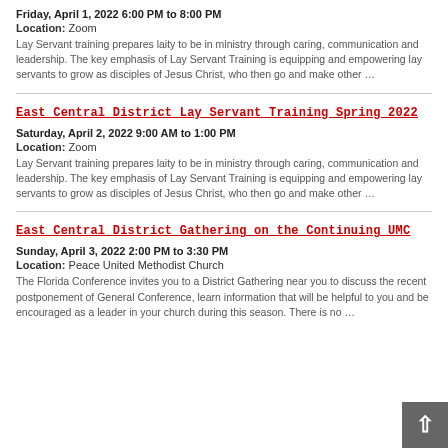Friday, April 1, 2022 6:00 PM to 8:00 PM
Location: Zoom
Lay Servant training prepares laity to be in ministry through caring, communication and leadership. The key emphasis of Lay Servant Training is equipping and empowering lay servants to grow as disciples of Jesus Christ, who then go and make other …
East Central District Lay Servant Training Spring 2022
Saturday, April 2, 2022 9:00 AM to 1:00 PM
Location: Zoom
Lay Servant training prepares laity to be in ministry through caring, communication and leadership. The key emphasis of Lay Servant Training is equipping and empowering lay servants to grow as disciples of Jesus Christ, who then go and make other …
East Central District Gathering on the Continuing UMC
Sunday, April 3, 2022 2:00 PM to 3:30 PM
Location: Peace United Methodist Church
The Florida Conference invites you to a District Gathering near you to discuss the recent postponement of General Conference, learn information that will be helpful to you and be encouraged as a leader in your church during this season. There is no …